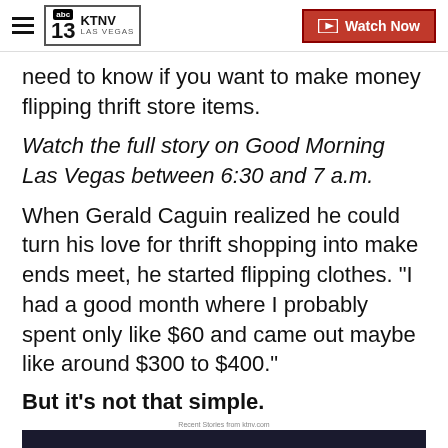KTNV LAS VEGAS | Watch Now
need to know if you want to make money flipping thrift store items.
Watch the full story on Good Morning Las Vegas between 6:30 and 7 a.m.
When Gerald Caguin realized he could turn his love for thrift shopping into make ends meet, he started flipping clothes. "I had a good month where I probably spent only like $60 and came out maybe like around $300 to $400."
But it's not that simple.
Recent Stories from ktnv.com
[Figure (screenshot): Video player thumbnail showing a dark screen with a progress/seek bar at the bottom]